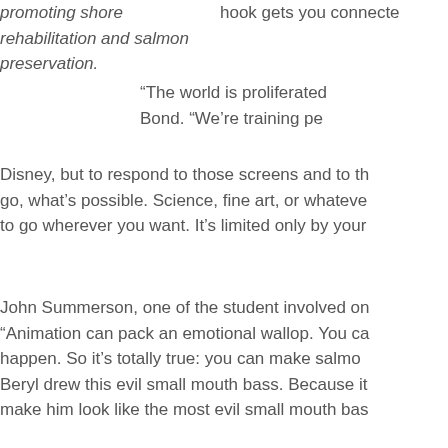promoting shore rehabilitation and salmon preservation.
hook gets you connected
“The world is proliferated Bond. “We’re training pe Disney, but to respond to those screens and to th go, what’s possible. Science, fine art, or whateve to go wherever you want. It’s limited only by your
John Summerson, one of the student involved on “Animation can pack an emotional wallop. You ca happen. So it’s totally true: you can make salmo Beryl drew this evil small mouth bass. Because it make him look like the most evil small mouth bas